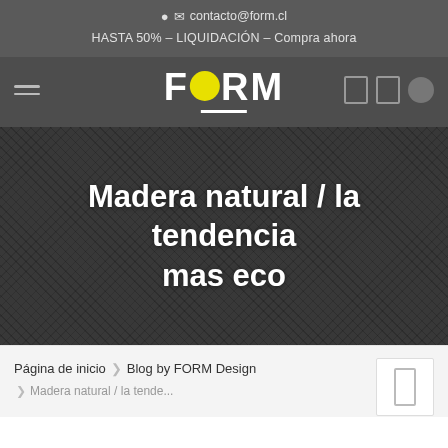contacto@form.cl
HASTA 50% - LIQUIDACIÓN - Compra ahora
[Figure (logo): FORM design logo in white bold text with yellow circle replacing the O, on dark gray navigation bar]
[Figure (photo): Dark textured fabric/material background with white bold text: Madera natural / la tendencia mas eco]
Madera natural / la tendencia mas eco
Página de inicio  ❯  Blog by FORM Design  ❯  Madera natural / la tende...